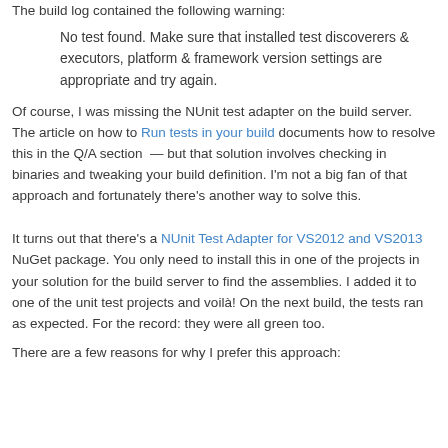The build log contained the following warning:
No test found. Make sure that installed test discoverers & executors, platform & framework version settings are appropriate and try again.
Of course, I was missing the NUnit test adapter on the build server. The article on how to Run tests in your build documents how to resolve this in the Q/A section — but that solution involves checking in binaries and tweaking your build definition. I'm not a big fan of that approach and fortunately there's another way to solve this.
It turns out that there's a NUnit Test Adapter for VS2012 and VS2013 NuGet package. You only need to install this in one of the projects in your solution for the build server to find the assemblies. I added it to one of the unit test projects and voilà! On the next build, the tests ran as expected. For the record: they were all green too.
There are a few reasons for why I prefer this approach: